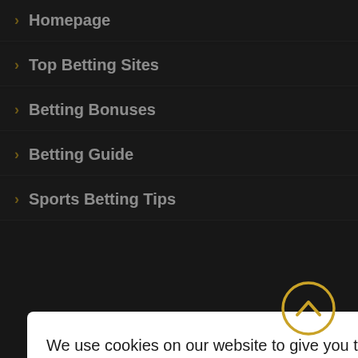› Homepage
› Top Betting Sites
› Betting Bonuses
› Betting Guide
› Sports Betting Tips
We use cookies on our website to give you the most relevant experience by remembering your preferences and repeat visits. By clicking "Accept All", you consent to the use of ALL the cookies. However, you may visit "Cookie Settings" to provide a controlled consent.
Cookie Settings | Accept All